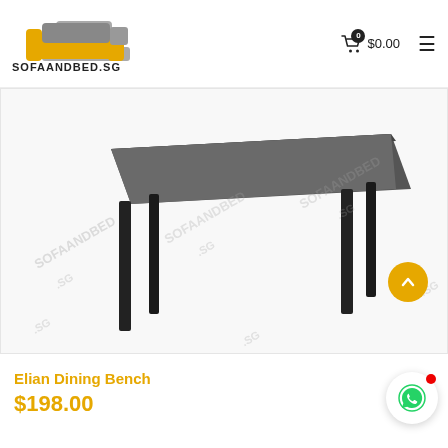[Figure (logo): SOFAANDBED.SG logo with orange and grey sofa illustration and brand name text below]
$0.00
[Figure (photo): Product photo of Elian Dining Bench — a long dark bench with black legs and grey upholstered seat, watermarked with SOFAANDBED.SG]
Elian Dining Bench
$198.00